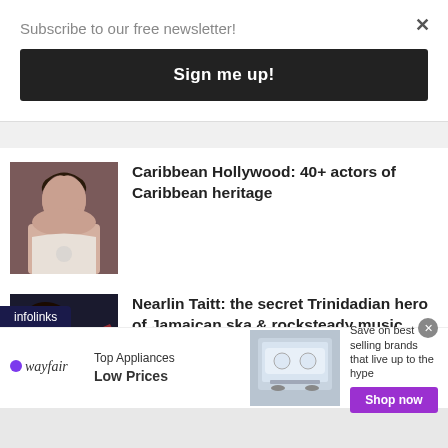Subscribe to our free newsletter!
[Figure (screenshot): Sign me up! button — dark black rounded rectangle button]
Caribbean Hollywood: 40+ actors of Caribbean heritage
Nearlin Taitt: the secret Trinidadian hero of Jamaican ska & rocksteady music
[Figure (infographic): Wayfair advertisement banner: Top Appliances Low Prices, shop now button, product image of a stove/range appliance]
infolinks